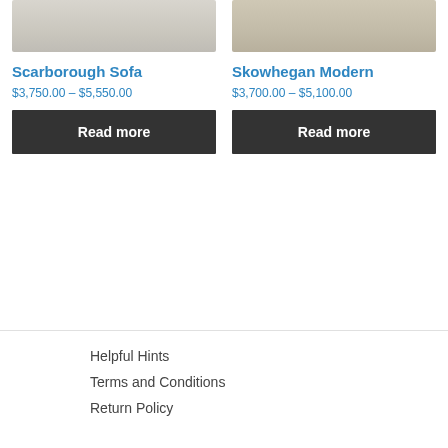[Figure (photo): Partial top view of a light gray sofa - Scarborough Sofa]
[Figure (photo): Partial top view of a beige/tan sofa - Skowhegan Modern]
Scarborough Sofa
$3,750.00 – $5,550.00
Read more
Skowhegan Modern
$3,700.00 – $5,100.00
Read more
Helpful Hints
Terms and Conditions
Return Policy